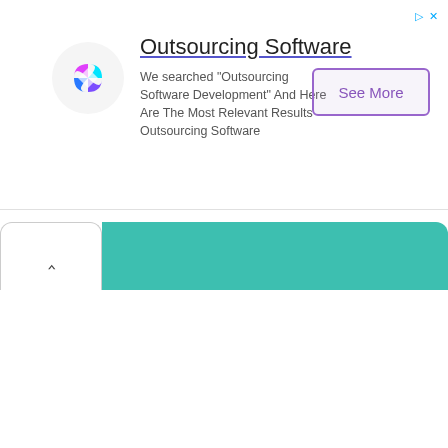[Figure (screenshot): Advertisement banner with logo, title 'Outsourcing Software', body text, and 'See More' button]
Outsourcing Software
We searched "Outsourcing Software Development" And Here Are The Most Relevant Results Outsourcing Software
[Figure (screenshot): Collapsed browser tab bar with white chevron-up tab and teal/green expanded area]